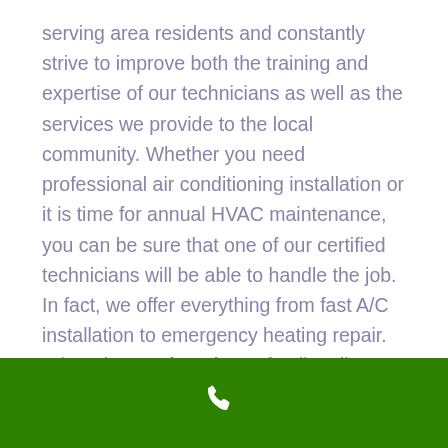serving area residents and constantly strive to improve both the training and expertise of our technicians as well as the services we provide to the local community. Whether you need professional air conditioning installation or it is time for annual HVAC maintenance, you can be sure that one of our certified technicians will be able to handle the job. In fact, we offer everything from fast A/C installation to emergency heating repair. When the comfort of your family relies on professional HVAC service, We offer a quality solution.
Services we offer in Goshen, NY 10924:
[Figure (other): Green banner bar at the bottom with a white phone/call icon in the center]